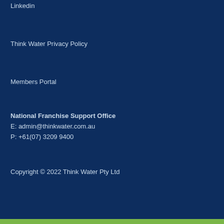Linkedin
Think Water Privacy Policy
Members Portal
National Franchise Support Office
E: admin@thinkwater.com.au
P: +61(07) 3209 9400
Copyright © 2022 Think Water Pty Ltd